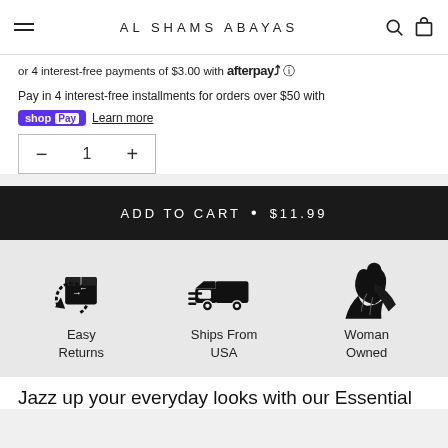AL SHAMS ABAYAS
or 4 interest-free payments of $3.00 with afterpay
Pay in 4 interest-free installments for orders over $50 with shop Pay Learn more
1
ADD TO CART • $11.99
[Figure (illustration): Easy Returns icon - box with return arrows]
[Figure (illustration): Ships From USA icon - fast delivery truck]
[Figure (illustration): Woman Owned icon - silhouette of woman in abaya]
Easy Returns
Ships From USA
Woman Owned
Jazz up your everyday looks with our Essential